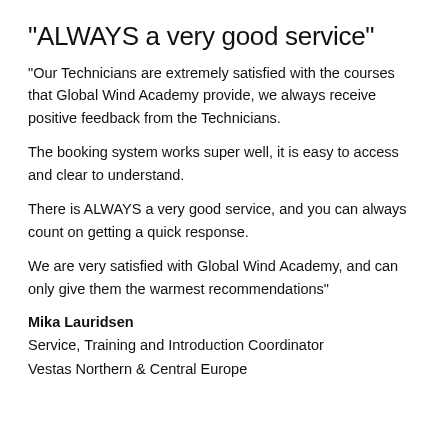"ALWAYS a very good service"
"Our Technicians are extremely satisfied with the courses that Global Wind Academy provide, we always receive positive feedback from the Technicians.
The booking system works super well, it is easy to access and clear to understand.
There is ALWAYS a very good service, and you can always count on getting a quick response.
We are very satisfied with Global Wind Academy, and can only give them the warmest recommendations"
Mika Lauridsen
Service, Training and Introduction Coordinator
Vestas Northern & Central Europe